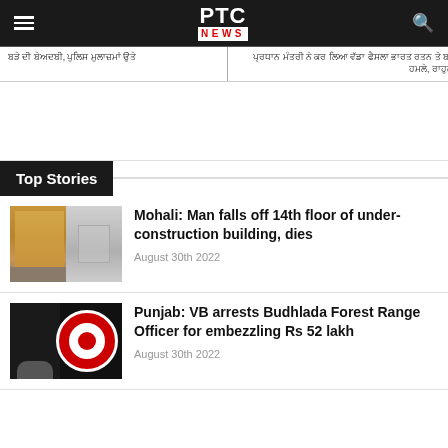[Figure (logo): PTC News logo in white and red on dark background, with hamburger menu on left and search icon on right]
ਬੜੇ ਦੀ ਬੇਅਦਬੀ, ਪੁਲਿਸ ਮੁਲਾਜ਼ਮਾਂ ਉਤੇ
ਪ੍ਰਧਾਨ ਮੰਤਰੀ ਨੇ ਕਰ ਲਿਆ ਵੱਡਾ ਫੈਸਲਾ ਭਾਰਤ ਰਤਨ ਤੇ ਬਾਲਾਕੋਟ ਹਮਲੇ, ਰਾਹੁਲ ਗਾਂਧੀ
Top Stories
[Figure (photo): Thumbnail showing an under-construction high-rise building on the left and a covered body on the right]
Mohali: Man falls off 14th floor of under-construction building, dies
August 30th 2022
[Figure (photo): Thumbnail showing handcuffed hands on dark background on the left and a red circular police/vigilance badge on the right]
Punjab: VB arrests Budhlada Forest Range Officer for embezzling Rs 52 lakh
August 30th 2022